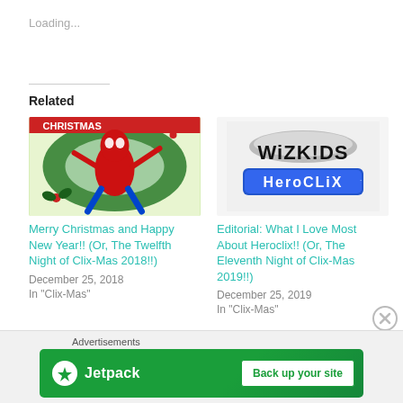Loading...
Related
[Figure (photo): Spider-Man Christmas comic image with wreath]
Merry Christmas and Happy New Year!! (Or, The Twelfth Night of Clix-Mas 2018!!)
December 25, 2018
In "Clix-Mas"
[Figure (logo): WizKids HeroClix logo]
Editorial: What I Love Most About Heroclix!! (Or, The Eleventh Night of Clix-Mas 2019!!)
December 25, 2019
In "Clix-Mas"
Advertisements
[Figure (screenshot): Jetpack advertisement banner with 'Back up your site' button]